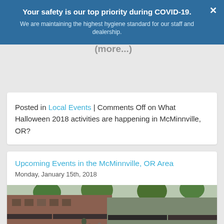October? You're in luck. We've made a list of 2018 McMinnville, Oregon Halloween events for you to enjoy with your friends and family! (more...)
Your safety is our top priority during COVID-19. We are maintaining the highest hygiene standard for our staff and dealership.
Posted in Local Events | Comments Off on What Halloween 2018 activities are happening in McMinnville, OR?
Upcoming Events in the McMinnville, OR Area
Monday, January 15th, 2018
[Figure (photo): Street scene showing shops and restaurants along a McMinnville, OR downtown street with trees and outdoor seating]
The holidays are over and the new year is well